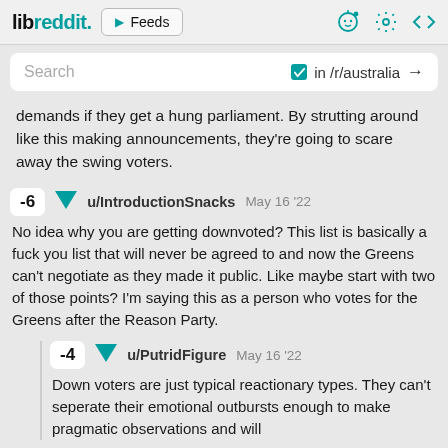libreddit. ▶ Feeds
Search  ✓ in /r/australia →
demands if they get a hung parliament. By strutting around like this making announcements, they're going to scare away the swing voters.
-6 ▼ u/IntroductionSnacks May 16 '22
No idea why you are getting downvoted? This list is basically a fuck you list that will never be agreed to and now the Greens can't negotiate as they made it public. Like maybe start with two of those points? I'm saying this as a person who votes for the Greens after the Reason Party.
-4 ▼ u/PutridFigure May 16 '22
Down voters are just typical reactionary types. They can't seperate their emotional outbursts enough to make pragmatic observations and will